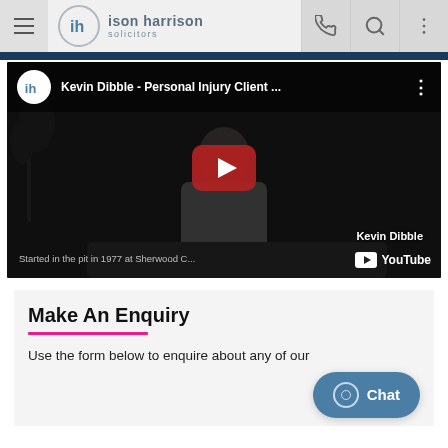ison harrison solicitors — navigation bar with hamburger menu, phone, search, and more icons
[Figure (screenshot): YouTube video thumbnail for 'Kevin Dibble - Personal Injury Client ...' showing a man seated on a couch in a dark scene with a YouTube play button overlay. Caption reads 'Kevin Dibble' and subtitle 'Started in the pit in 1977 at Sherwood C...' with YouTube logo watermark.]
Make An Enquiry
Use the form below to enquire about any of our